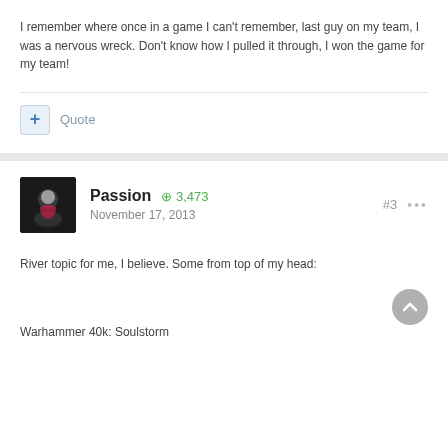I remember where once in a game I can't remember, last guy on my team, I was a nervous wreck. Don't know how I pulled it through, I won the game for my team!
Quote
Passion  3,473
November 17, 2013
River topic for me, I believe. Some from top of my head:
Warhammer 40k: Soulstorm